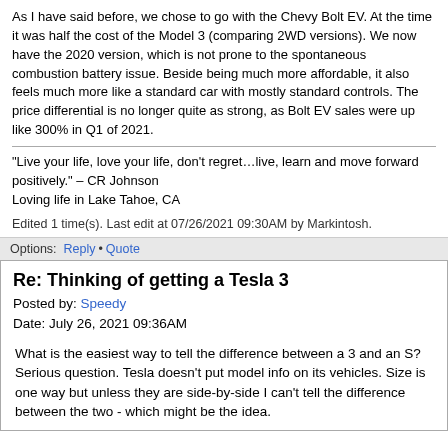As I have said before, we chose to go with the Chevy Bolt EV. At the time it was half the cost of the Model 3 (comparing 2WD versions). We now have the 2020 version, which is not prone to the spontaneous combustion battery issue. Beside being much more affordable, it also feels much more like a standard car with mostly standard controls. The price differential is no longer quite as strong, as Bolt EV sales were up like 300% in Q1 of 2021.
“Live your life, love your life, don’t regret…live, learn and move forward positively.” – CR Johnson
Loving life in Lake Tahoe, CA
Edited 1 time(s). Last edit at 07/26/2021 09:30AM by Markintosh.
Options: Reply • Quote
Re: Thinking of getting a Tesla 3
Posted by: Speedy
Date: July 26, 2021 09:36AM
What is the easiest way to tell the difference between a 3 and an S? Serious question. Tesla doesn’t put model info on its vehicles. Size is one way but unless they are side-by-side I can’t tell the difference between the two - which might be the idea.